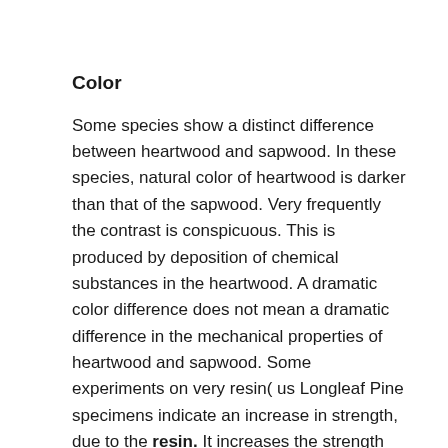Color
Some species show a distinct difference between heartwood and sapwood. In these species, natural color of heartwood is darker than that of the sapwood. Very frequently the contrast is conspicuous. This is produced by deposition of chemical substances in the heartwood. A dramatic color difference does not mean a dramatic difference in the mechanical properties of heartwood and sapwood. Some experiments on very resin( us Longleaf Pine specimens indicate an increase in strength, due to the resin. It increases the strength when wood is dry. Such resin-sat irated heartwood is called